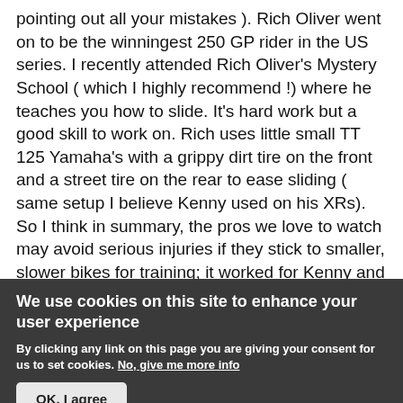pointing out all your mistakes ). Rich Oliver went on to be the winningest 250 GP rider in the US series. I recently attended Rich Oliver's Mystery School ( which I highly recommend !) where he teaches you how to slide. It's hard work but a good skill to work on. Rich uses little small TT 125 Yamaha's with a grippy dirt tire on the front and a street tire on the rear to ease sliding ( same setup I believe Kenny used on his XRs). So I think in summary, the pros we love to watch may avoid serious injuries if they stick to smaller, slower bikes for training; it worked for Kenny and everyone he taught ( even Lorenzo in 2007) And stick to bicyles or rowing or running for cardio. I read that the pros like to ride MX
We use cookies on this site to enhance your user experience
By clicking any link on this page you are giving your consent for us to set cookies. No, give me more info
OK, I agree